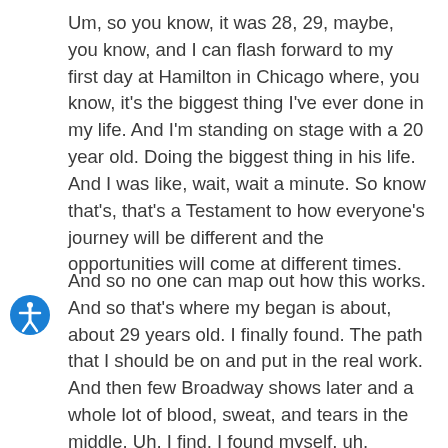Um, so you know, it was 28, 29, maybe, you know, and I can flash forward to my first day at Hamilton in Chicago where, you know, it's the biggest thing I've ever done in my life. And I'm standing on stage with a 20 year old. Doing the biggest thing in his life. And I was like, wait, wait a minute. So know that's, that's a Testament to how everyone's journey will be different and the opportunities will come at different times.
And so no one can map out how this works. And so that's where my began is about, about 29 years old. I finally found. The path that I should be on and put in the real work. And then few Broadway shows later and a whole lot of blood, sweat, and tears in the middle. Uh, I find, I found myself, uh, Alexander Hamilton and one of the biggest shows in the world.
So it's, it's pretty, very long, long journey to get here, but I'm so glad that it happened. You know, it wouldn't, we knows through all the trouble and trials that came to get here. If I could have gotten here any